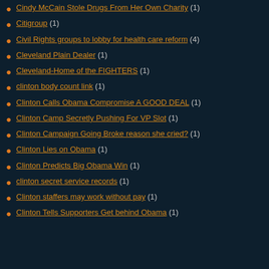Cindy McCain Stole Drugs From Her Own Charity (1)
Citigroup (1)
Civil Rights groups to lobby for health care reform (4)
Cleveland Plain Dealer (1)
Cleveland-Home of the FIGHTERS (1)
clinton body count link (1)
Clinton Calls Obama Compromise A GOOD DEAL (1)
Clinton Camp Secretly Pushing For VP Slot (1)
Clinton Campaign Going Broke reason she cried? (1)
Clinton Lies on Obama (1)
Clinton Predicts Big Obama Win (1)
clinton secret service records (1)
Clinton staffers may work without pay (1)
Clinton Tells Supporters Get behind Obama (1)